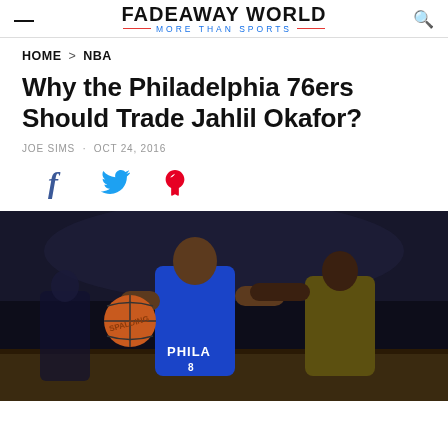FADEAWAY WORLD — MORE THAN SPORTS
HOME > NBA
Why the Philadelphia 76ers Should Trade Jahlil Okafor?
JOE SIMS · OCT 24, 2016
[Figure (other): Social share icons: Facebook, Twitter, Pinterest]
[Figure (photo): Jahlil Okafor in Philadelphia 76ers blue uniform holding a basketball, being defended by an opponent]